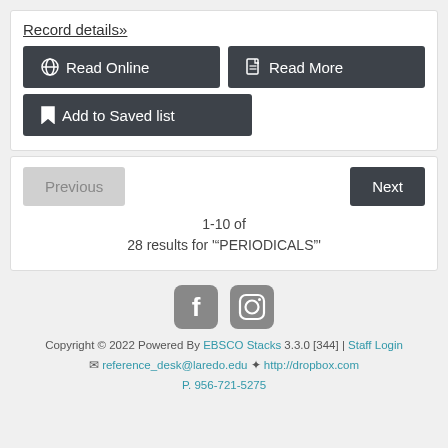Record details»
Read Online
Read More
Add to Saved list
Previous
Next
1-10 of
28 results for '"PERIODICALS"'
[Figure (logo): Facebook and Instagram social media icons]
Copyright © 2022 Powered By EBSCO Stacks 3.3.0 [344] | Staff Login
✉ reference_desk@laredo.edu ✿ http://dropbox.com
P. 956-721-5275